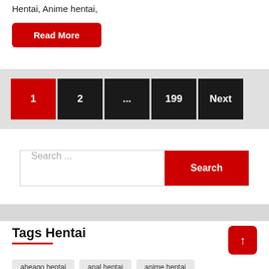Hentai, Anime hentai,
Read More
1
2
...
199
Next
Search ...
Search
Tags Hentai
aheago hentai
anal hentai
anime hentai